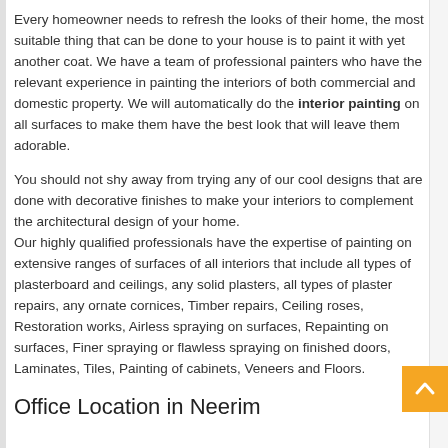Every homeowner needs to refresh the looks of their home, the most suitable thing that can be done to your house is to paint it with yet another coat. We have a team of professional painters who have the relevant experience in painting the interiors of both commercial and domestic property. We will automatically do the interior painting on all surfaces to make them have the best look that will leave them adorable.
You should not shy away from trying any of our cool designs that are done with decorative finishes to make your interiors to complement the architectural design of your home.
Our highly qualified professionals have the expertise of painting on extensive ranges of surfaces of all interiors that include all types of plasterboard and ceilings, any solid plasters, all types of plaster repairs, any ornate cornices, Timber repairs, Ceiling roses, Restoration works, Airless spraying on surfaces, Repainting on surfaces, Finer spraying or flawless spraying on finished doors, Laminates, Tiles, Painting of cabinets, Veneers and Floors.
Office Location in Neerim